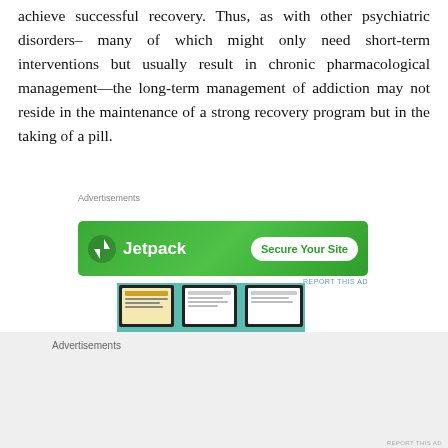achieve successful recovery. Thus, as with other psychiatric disorders– many of which might only need short-term interventions but usually result in chronic pharmacological management—the long-term management of addiction may not reside in the maintenance of a strong recovery program but in the taking of a pill.
Advertisements
[Figure (other): Jetpack advertisement banner with green background, Jetpack logo and icon on the left, and a 'Secure Your Site' button on the right]
[Figure (photo): Image showing framed certificates/diplomas on a teal/mint colored wall]
Advertisements